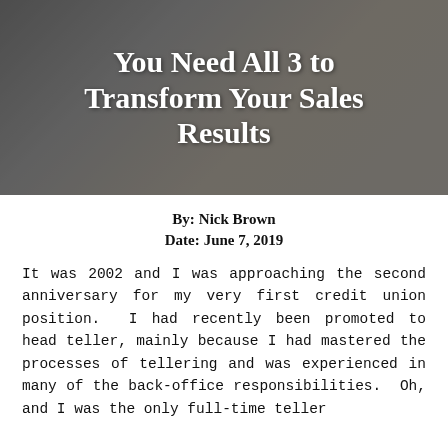[Figure (photo): Hero image of people in business attire with white bold title text overlay reading 'You Need All 3 to Transform Your Sales Results']
By:  Nick Brown
Date:  June 7, 2019
It was 2002 and I was approaching the second anniversary for my very first credit union position.  I had recently been promoted to head teller, mainly because I had mastered the processes of tellering and was experienced in many of the back-office responsibilities.  Oh, and I was the only full-time teller